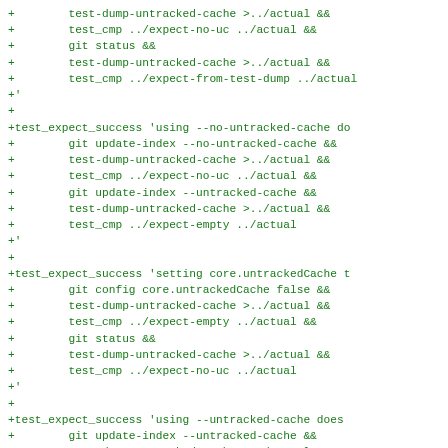+        test-dump-untracked-cache >../actual &&
+        test_cmp ../expect-no-uc ../actual &&
+        git status &&
+        test-dump-untracked-cache >../actual &&
+        test_cmp ../expect-from-test-dump ../actual
+'
+
+test_expect_success 'using --no-untracked-cache do
+        git update-index --no-untracked-cache &&
+        test-dump-untracked-cache >../actual &&
+        test_cmp ../expect-no-uc ../actual &&
+        git update-index --untracked-cache &&
+        test-dump-untracked-cache >../actual &&
+        test_cmp ../expect-empty ../actual
+'
+
+test_expect_success 'setting core.untrackedCache t
+        git config core.untrackedCache false &&
+        test-dump-untracked-cache >../actual &&
+        test_cmp ../expect-empty ../actual &&
+        git status &&
+        test-dump-untracked-cache >../actual &&
+        test_cmp ../expect-no-uc ../actual
+'
+
+test_expect_success 'using --untracked-cache does
+        git update-index --untracked-cache &&
+        test-dump-untracked-cache >../actual &&
+        test_cmp ../expect-empty ../actual
+'